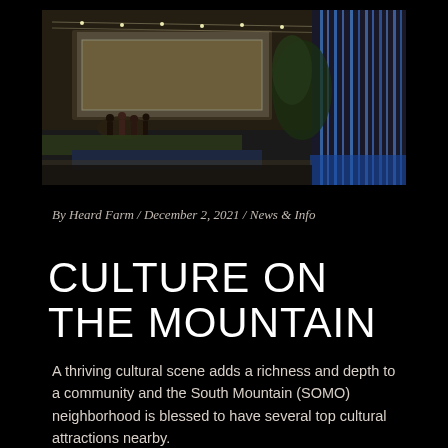[Figure (photo): Nighttime photo of a modern building exterior with people gathered near a water feature/fountain with blue lighting, illuminated facade with string lights overhead, and landscaped grounds.]
By Heard Farm / December 2, 2021 / News & Info
CULTURE ON THE MOUNTAIN
A thriving cultural scene adds a richness and depth to a community and the South Mountain (SOMO) neighborhood is blessed to have several top cultural attractions nearby.